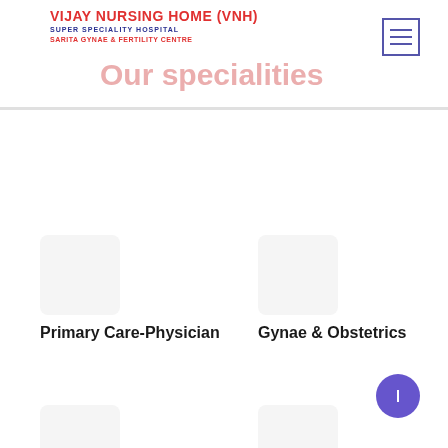VIJAY NURSING HOME (VNH) SUPER SPECIALITY HOSPITAL SARITA GYNAE & FERTILITY CENTRE
Our specialities
Primary Care-Physician
Gynae & Obstetrics
General Surgery
Critical Care & ICU